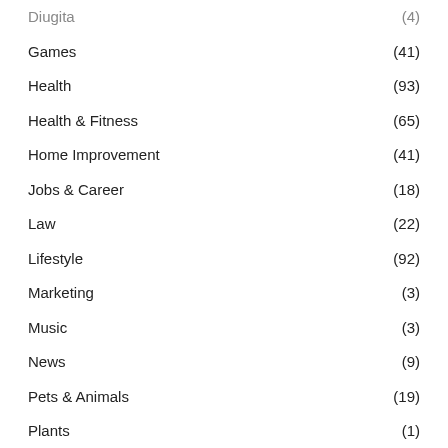Diugita (4)
Games (41)
Health (93)
Health & Fitness (65)
Home Improvement (41)
Jobs & Career (18)
Law (22)
Lifestyle (92)
Marketing (3)
Music (3)
News (9)
Pets & Animals (19)
Plants (1)
Real Estate (15)
reviews (148)